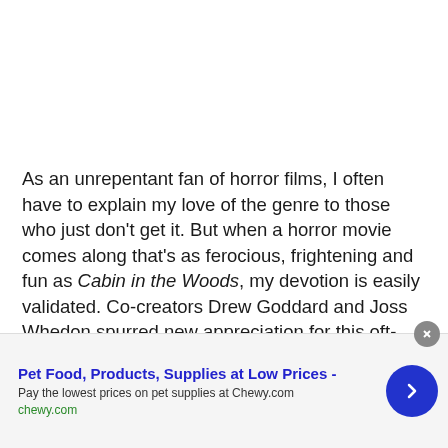As an unrepentant fan of horror films, I often have to explain my love of the genre to those who just don't get it. But when a horror movie comes along that's as ferocious, frightening and fun as Cabin in the Woods, my devotion is easily validated. Co-creators Drew Goddard and Joss Whedon spurred new appreciation for this oft-maligned genre by not only offering plenty of ghastly gore and powerful scares, but also drawing attention to the mechanics behind...
[Figure (other): Advertisement banner for Chewy.com pet supplies with title 'Pet Food, Products, Supplies at Low Prices -', subtitle 'Pay the lowest prices on pet supplies at Chewy.com', domain 'chewy.com', a blue circular arrow button, and a close (X) button.]